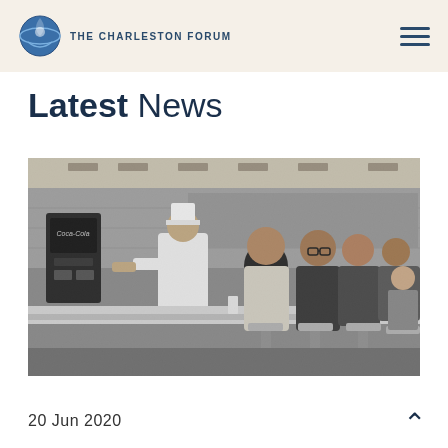THE CHARLESTON FORUM
Latest News
[Figure (photo): Black and white historical photograph of four young Black men sitting at a lunch counter diner, with a white-uniformed short-order cook behind the counter. A Coca-Cola machine is visible on the left. This appears to be a civil rights era sit-in photograph, circa 1960s.]
20 Jun 2020